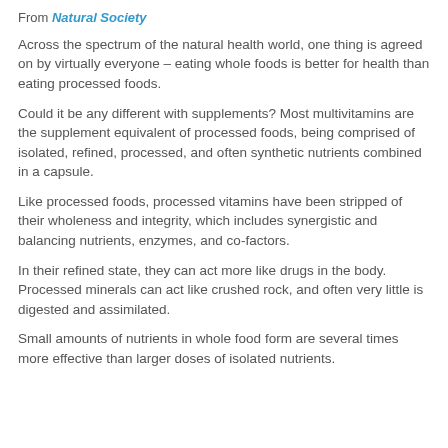From Natural Society
Across the spectrum of the natural health world, one thing is agreed on by virtually everyone – eating whole foods is better for health than eating processed foods.
Could it be any different with supplements? Most multivitamins are the supplement equivalent of processed foods, being comprised of isolated, refined, processed, and often synthetic nutrients combined in a capsule.
Like processed foods, processed vitamins have been stripped of their wholeness and integrity, which includes synergistic and balancing nutrients, enzymes, and co-factors.
In their refined state, they can act more like drugs in the body. Processed minerals can act like crushed rock, and often very little is digested and assimilated.
Small amounts of nutrients in whole food form are several times more effective than larger doses of isolated nutrients.